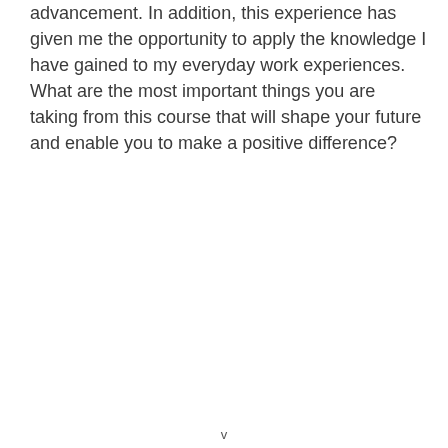advancement. In addition, this experience has given me the opportunity to apply the knowledge I have gained to my everyday work experiences. What are the most important things you are taking from this course that will shape your future and enable you to make a positive difference?
v